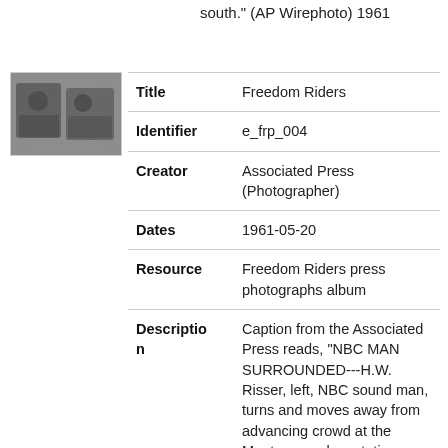south." (AP Wirephoto) 1961
[Figure (photo): Black and white thumbnail photograph showing people, likely related to Freedom Riders press photograph]
| Field | Value |
| --- | --- |
| Title | Freedom Riders |
| Identifier | e_frp_004 |
| Creator | Associated Press (Photographer) |
| Dates | 1961-05-20 |
| Resource | Freedom Riders press photographs album |
| Description | Caption from the Associated Press reads, "NBC MAN SURROUNDED---H.W. Risser, left, NBC sound man, turns and moves away from advancing crowd at the Montgomery bus station today after freedom riders were met by a mob. Moments later he was set upon and bea... Show more |